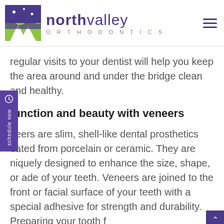[Figure (logo): North Valley Orthodontics logo with purple text and green/purple icon showing teeth silhouette]
regular visits to your dentist will help you keep the area around and under the bridge clean and healthy.
function and beauty with veneers
neers are slim, shell-like dental prosthetics eated from porcelain or ceramic. They are niquely designed to enhance the size, shape, or ade of your teeth. Veneers are joined to the front or facial surface of your teeth with a special adhesive for strength and durability. Preparing your tooth f